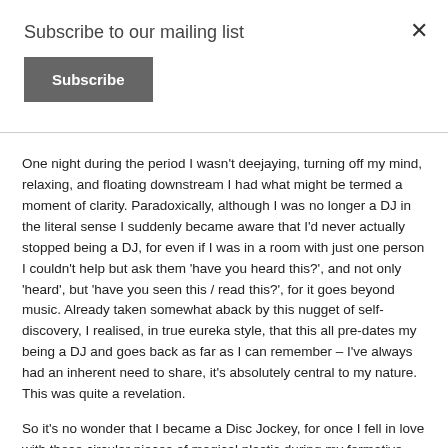Subscribe to our mailing list
Subscribe
One night during the period I wasn't deejaying, turning off my mind, relaxing, and floating downstream I had what might be termed a moment of clarity. Paradoxically, although I was no longer a DJ in the literal sense I suddenly became aware that I'd never actually stopped being a DJ, for even if I was in a room with just one person I couldn't help but ask them 'have you heard this?', and not only 'heard', but 'have you seen this / read this?', for it goes beyond music. Already taken somewhat aback by this nugget of self-discovery, I realised, in true eureka style, that this all pre-dates my being a DJ and goes back as far as I can remember – I've always had an inherent need to share, it's absolutely central to my nature. This was quite a revelation.
So it's no wonder that I became a Disc Jockey, for once I fell in love with those circular pieces of magical plastic during my formative years, it wasn't a matter of choosing this as a path, the path pretty much chose me.